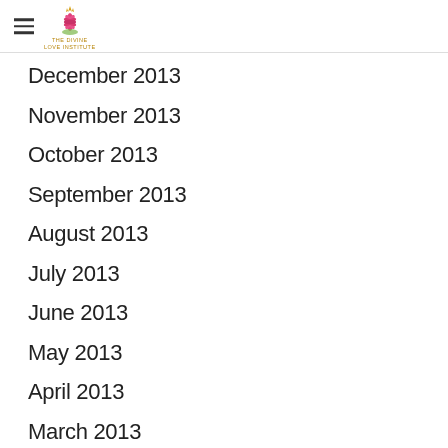THE DIVINE LOVE INSTITUTE
December 2013
November 2013
October 2013
September 2013
August 2013
July 2013
June 2013
May 2013
April 2013
March 2013
January 2013
November 2012
October 2012
June 2012
May 2012
January 2012